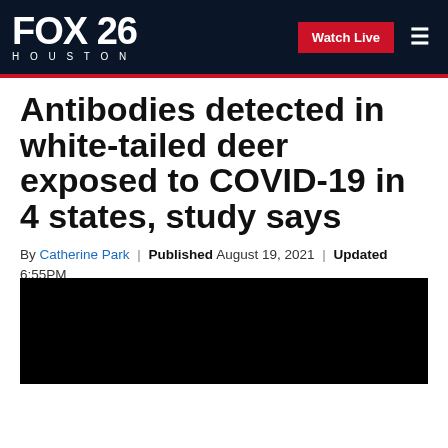FOX 26 HOUSTON | Watch Live
Antibodies detected in white-tailed deer exposed to COVID-19 in 4 states, study says
By Catherine Park | Published August 19, 2021 | Updated 6:55PM | Pets and Animals | FOX TV Digital Team
[Figure (other): Social sharing icons: Facebook, Twitter, Print, Email]
[Figure (other): Black video player placeholder]